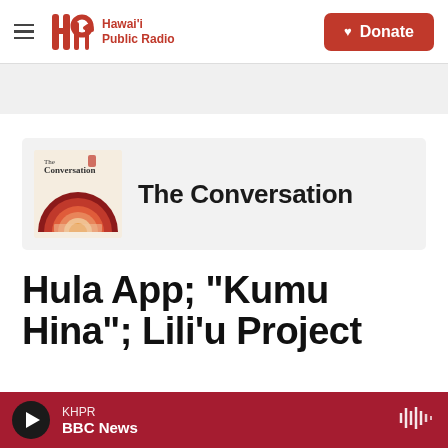Hawaiʻi Public Radio — Donate
[Figure (logo): Hawaiʻi Public Radio logo with stylized 'hpr' letters in red and text 'Hawaiʻi Public Radio']
[Figure (illustration): The Conversation podcast cover art with concentric rainbow arcs in red and orange tones on cream background]
The Conversation
Hula App; "Kumu Hina"; Lili'u Project
KHPR BBC News — player bar